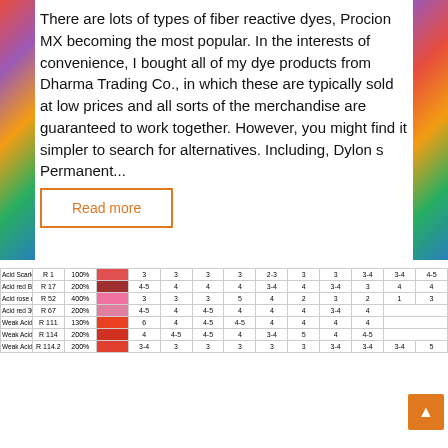There are lots of types of fiber reactive dyes, Procion MX becoming the most popular. In the interests of convenience, I bought all of my dye products from Dharma Trading Co., in which these are typically sold at low prices and all sorts of the merchandise are guaranteed to work together. However, you might find it simpler to search for alternatives. Including, Dylon s Permanent...
Read more
| Name | R# | % | Color | col1 | col2 | col3 | col4 | col5 | col6 | col7 | col8 | col9 | col10 |
| --- | --- | --- | --- | --- | --- | --- | --- | --- | --- | --- | --- | --- | --- |
| Acid Scarlet G | R 1 | 100% |  | 3 | 3 | 3 | 3 | 2-3 | 3 | 3 | 3-4 | 3-4 | 4-5 |
| Acid red BG | R 17 | 200% |  | 4-5 | 4 | 4 | 4 | 3-4 | 4 | 3-4 | 3 | 4 | 4 |
| Acid rose red B | R 52 | 400% |  | 3 | 3 | 3 | 5 | 4 | 2 | 3 | 2 | 1 | 3 |
| Acid red 300* | R 67 | 200% |  | 4-5 | 4 | 4-5 | 4 | 4 | 4 | 3-4 | 4 |  |  |
| Weak Acid Scarlet F-3GL | R 111 | 130% |  | 6 | 4 | 4-5 | 4-5 | 4 | 4 | 4 | 4 |  |  |
| Weak Acid Scarlet RS | R 114 | 200% |  | 4 | 4-5 | 4-5 | 4 | 3-4 | 5 | 4 | 4-5 |  |  |
| Weak Acid Scarlet F-8RS | R 114.2 | 200% |  | 3-4 | 3 | 3 | 3 | 3 | 3 | 3-4 | 3-4 | 3-4 | 5 |